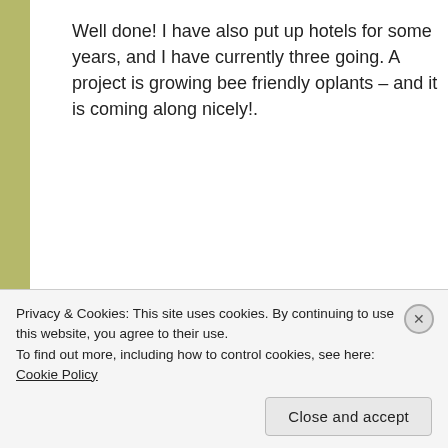Well done! I have also put up hotels for some years, and I have currently three going. A project is growing bee friendly oplants – and it is coming along nicely!.
★ Like
Log in to Reply
FORESTWOOD
February 21, 2021 at 12:23 pm
Privacy & Cookies: This site uses cookies. By continuing to use this website, you agree to their use. To find out more, including how to control cookies, see here: Cookie Policy
Close and accept